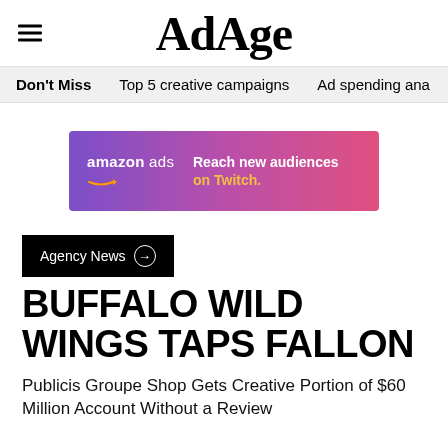AdAge
Don't Miss   Top 5 creative campaigns   Ad spending ana
[Figure (other): Amazon Ads banner advertisement with purple-to-pink gradient background. Left side shows 'amazon ads' with Amazon logo arrow. Right side shows text 'Reach new audiences on Twitch.' with 'on Twitch.' in gold/yellow color.]
Agency News →
BUFFALO WILD WINGS TAPS FALLON
Publicis Groupe Shop Gets Creative Portion of $60 Million Account Without a Review